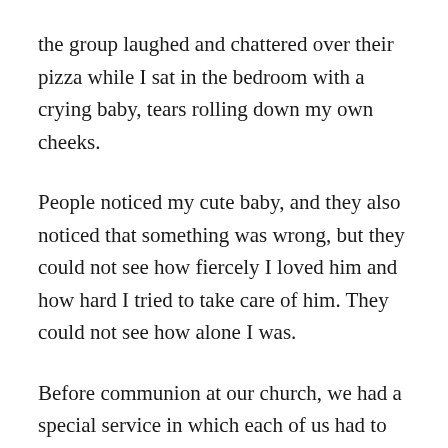the group laughed and chattered over their pizza while I sat in the bedroom with a crying baby, tears rolling down my own cheeks.
People noticed my cute baby, and they also noticed that something was wrong, but they could not see how fiercely I loved him and how hard I tried to take care of him. They could not see how alone I was.
Before communion at our church, we had a special service in which each of us had to meet with one of the preachers to talk about how our spiritual life was going. Our son was still a baby when Will and I unsuspectingly sat down and shared about our lives.